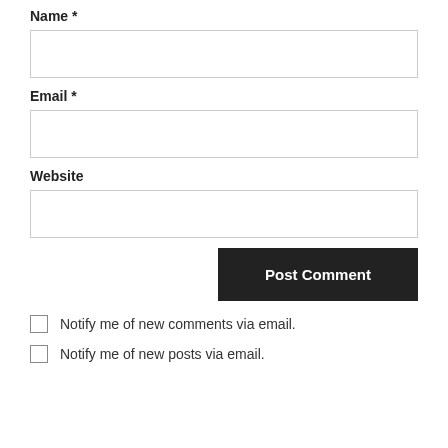Name *
[Figure (other): Empty text input box for Name field]
Email *
[Figure (other): Empty text input box for Email field]
Website
[Figure (other): Empty text input box for Website field]
Post Comment
Notify me of new comments via email.
Notify me of new posts via email.